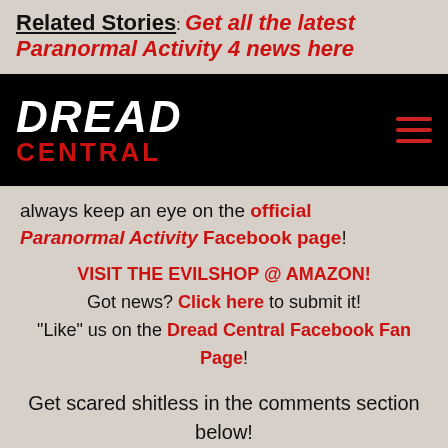Related Stories: Get all the latest Paranormal Activity 4 news here
[Figure (logo): Dread Central logo on black background with hamburger menu icon]
always keep an eye on the official Paranormal Activity Facebook page!
VISIT THE EVILSHOP @ AMAZON! Got news? Click here to submit it! "Like" us on the Dread Central Facebook Fan Page!
Get scared shitless in the comments section below!
[Figure (logo): Two Amazon logo boxes with orange smile arrows]